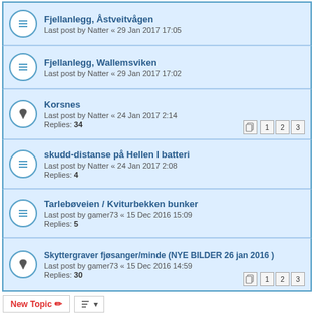Fjellanlegg, Åstveitvågen
Last post by Natter « 29 Jan 2017 17:05
Fjellanlegg, Wallemsviken
Last post by Natter « 29 Jan 2017 17:02
Korsnes
Last post by Natter « 24 Jan 2017 2:14
Replies: 34
skudd-distanse på Hellen I batteri
Last post by Natter « 24 Jan 2017 2:08
Replies: 4
Tarlebøveien / Kviturbekken bunker
Last post by gamer73 « 15 Dec 2016 15:09
Replies: 5
Skyttergraver fjøsanger/minde (NYE BILDER 26 jan 2016 )
Last post by gamer73 « 15 Dec 2016 14:59
Replies: 30
162 topics
Jump to
FORUM PERMISSIONS